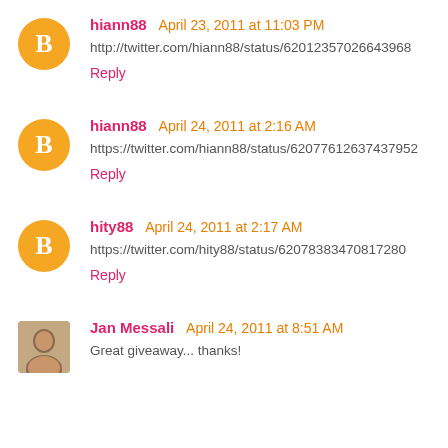hiann88 April 23, 2011 at 11:03 PM
http://twitter.com/hiann88/status/62012357026643968
Reply
hiann88 April 24, 2011 at 2:16 AM
https://twitter.com/hiann88/status/62077612637437952
Reply
hity88 April 24, 2011 at 2:17 AM
https://twitter.com/hity88/status/62078383470817280
Reply
Jan Messali April 24, 2011 at 8:51 AM
Great giveaway... thanks!